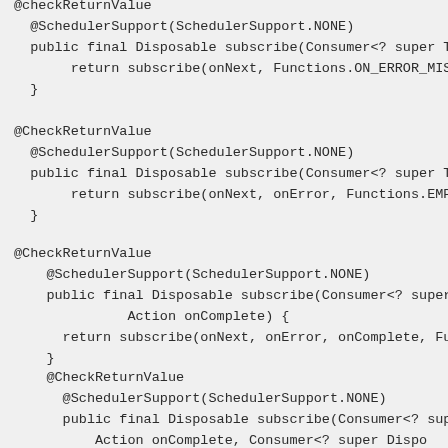@checkReturnValue
  @SchedulerSupport(SchedulerSupport.NONE)
  public final Disposable subscribe(Consumer<? super T> o
       return subscribe(onNext, Functions.ON_ERROR_MISSING
  }
@CheckReturnValue
  @SchedulerSupport(SchedulerSupport.NONE)
  public final Disposable subscribe(Consumer<? super T> o
       return subscribe(onNext, onError, Functions.EMPTY_A
  }
@CheckReturnValue
    @SchedulerSupport(SchedulerSupport.NONE)
    public final Disposable subscribe(Consumer<? super T
              Action onComplete) {
      return subscribe(onNext, onError, onComplete, Fu
    }
@CheckReturnValue
      @SchedulerSupport(SchedulerSupport.NONE)
      public final Disposable subscribe(Consumer<? supe
          Action onComplete, Consumer<? super Dispo